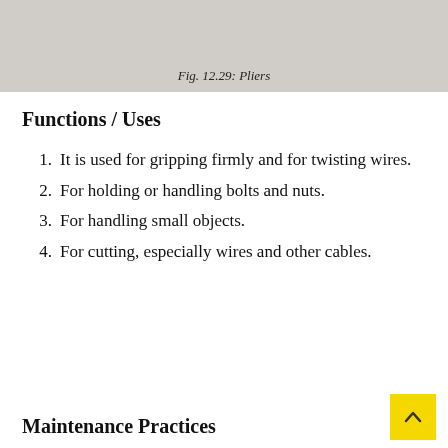[Figure (photo): Top portion of a photograph showing pliers tool, with the bottom caption area visible]
Fig. 12.29: Pliers
Functions / Uses
It is used for gripping firmly and for twisting wires.
For holding or handling bolts and nuts.
For handling small objects.
For cutting, especially wires and other cables.
Maintenance Practices